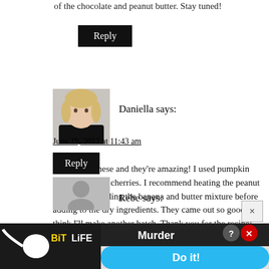of the chocolate and peanut butter. Stay tuned!
Reply
[Figure (photo): Avatar photo of Daniella - blonde woman with short hair wearing black top]
Daniella says:
June 19, 2012 at 11:43 am
I just made these and they're amazing! I used pumpkin seeds and dried cherries. I recommend heating the peanut butter and blending the banana and butter mixture before adding to the dry ingredients. They came out so good I think I'll make another batch. Thank you for the recipe!
Reply
[Figure (photo): Default gray avatar silhouette for user Rebe]
Rebe says:
[Figure (screenshot): BitLife advertisement banner - Murder Do it!]